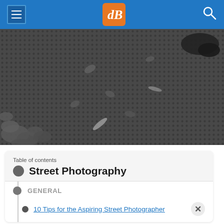dPS (Digital Photography School) - navigation header with menu, logo, and search
[Figure (photo): Black and white street photograph showing a metal grid floor/grate with fallen leaves scattered on it and a shoe/foot visible in the upper right corner]
Table of contents
Street Photography
GENERAL
10 Tips for the Aspiring Street Photographer